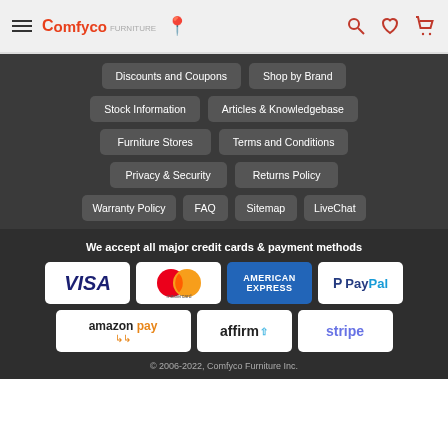Comfyco Furniture header with logo, location pin, search, wishlist, and cart icons
Discounts and Coupons
Shop by Brand
Stock Information
Articles & Knowledgebase
Furniture Stores
Terms and Conditions
Privacy & Security
Returns Policy
Warranty Policy
FAQ
Sitemap
LiveChat
We accept all major credit cards & payment methods
[Figure (logo): Payment method logos: VISA, Mastercard, American Express, PayPal, Amazon Pay, Affirm, Stripe]
© 2006-2022, Comfyco Furniture Inc.